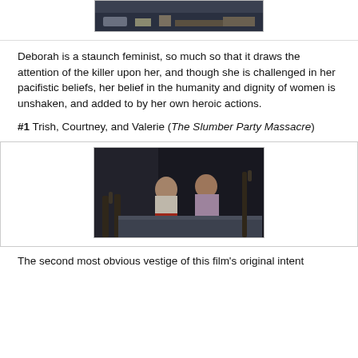[Figure (photo): Partial view of a dark film still at the top of the page, showing floor/feet area]
Deborah is a staunch feminist, so much so that it draws the attention of the killer upon her, and though she is challenged in her pacifistic beliefs, her belief in the humanity and dignity of women is unshaken, and added to by her own heroic actions.
#1 Trish, Courtney, and Valerie (The Slumber Party Massacre)
[Figure (photo): Film still from The Slumber Party Massacre showing two women on a bed in a dark room]
The second most obvious vestige of this film's original intent